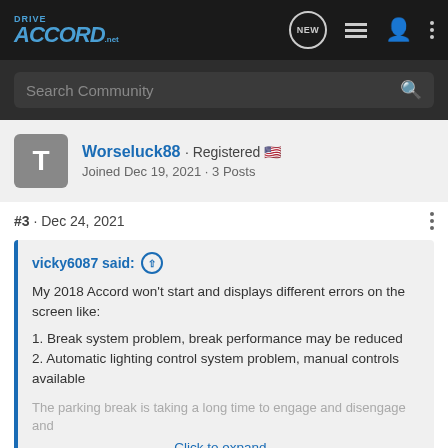[Figure (screenshot): DriveAccord.net forum website navigation bar with logo, NEW chat icon, menu icon, user icon, and vertical dots menu]
[Figure (screenshot): Search Community input bar with magnifying glass icon on dark background]
Worseluck88 · Registered 🇺🇸
Joined Dec 19, 2021 · 3 Posts
#3 · Dec 24, 2021
vicky6087 said: ↑
My 2018 Accord won't start and displays different errors on the screen like:
1. Break system problem, break performance may be reduced
2. Automatic lighting control system problem, manual controls available
The parking break is taking a long time to engage and disengage and
Click to expand...
I also have a 2018 Accord. I have those similar lights while